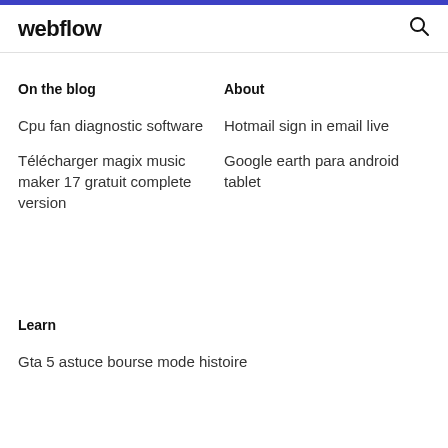webflow
On the blog
About
Cpu fan diagnostic software
Hotmail sign in email live
Télécharger magix music maker 17 gratuit complete version
Google earth para android tablet
Learn
Gta 5 astuce bourse mode histoire